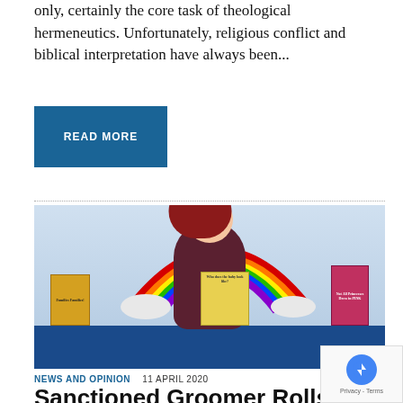only, certainly the core task of theological hermeneutics. Unfortunately, religious conflict and biblical interpretation have always been...
READ MORE
[Figure (photo): A drag performer with horns and elaborate makeup sits behind a table with children's books including 'Families, Families, Families!' and 'Not All Princesses Dress in Pink', in front of a rainbow decoration and balloon clouds at what appears to be a library story hour event.]
NEWS AND OPINION    11 APRIL 2020
Sanctioned Groomer Rolls the...